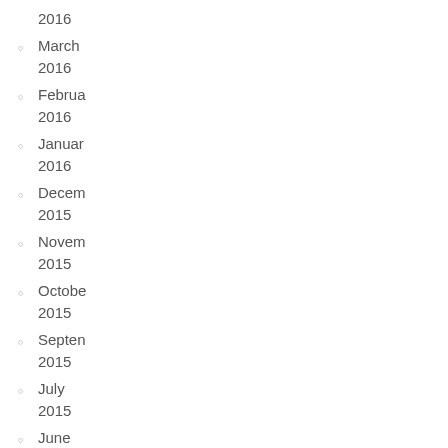2016
March 2016
Februa 2016
Januar 2016
Decem 2015
Novem 2015
Octobe 2015
Septen 2015
July 2015
June